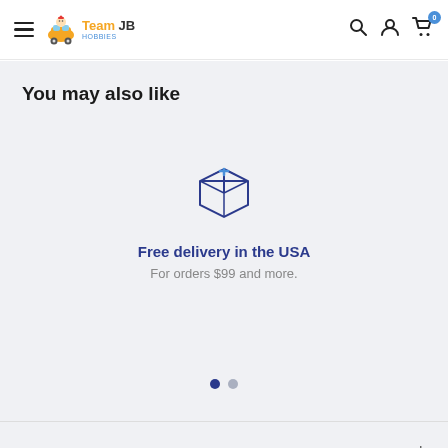Team JB Hobbies — navigation header with hamburger menu, logo, search, account, and cart icons (cart count: 0)
You may also like
[Figure (illustration): Box/package icon in dark blue outline style, representing shipping/delivery]
Free delivery in the USA
For orders $99 and more.
[Figure (other): Carousel pagination dots: one filled (active) and one unfilled (inactive)]
ABOUT US